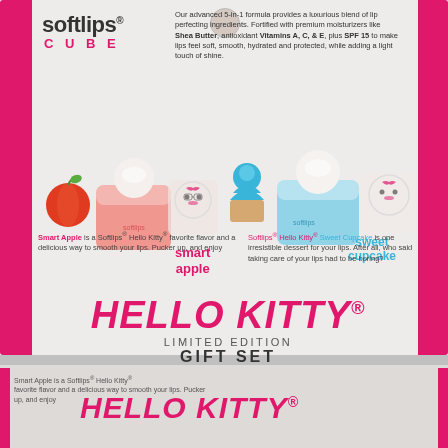[Figure (photo): Softlips Cube Hello Kitty Limited Edition Gift Set packaging card showing two lip balm products: Smart Apple (pink/red cube) and Sweet Cupcake (blue cube), each with Hello Kitty graphics. Bottom portion shows a partial second card.]
softlips® CUBE
Our advanced 5-in-1 formula provides a luxurious blend of lip perfecting ingredients. Fortified with premium moisturizers like Shea Butter, antioxidant Vitamins A, C, & E, plus SPF 15 to make lips feel soft, smooth, hydrated and protected, while adding a light touch of shine.
smart apple
sweet cupcake
Smart Apple is a Softlips® Hello Kitty® favorite flavor and a delicious way to smooth your lips. Pucker up, and enjoy
Softlips® Hello Kitty® Sweet Cupcake is one irresistible dessert for your lips. After all, who said taking care of your lips had to be boring?
HELLO KITTY®
LIMITED EDITION
GIFT SET
Smart Apple is a Softlips® Hello Kitty® favorite flavor and a delicious way to smooth your lips. Pucker up, and enjoy
HELLO KITTY®